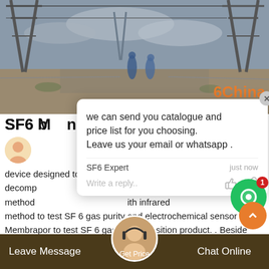[Figure (photo): Industrial/outdoor scene with power transmission towers and pylons in a desert-like area, workers visible in background, overcast sky]
6China
SF6 b... factory
device designed to measure SF 6 gas dew point, purity and decomp...illed mirror method...ith infrared method to test SF 6 gas purity and electrochemical sensor from Membrapor to test SF 6 gas decomposition product. . Besides, we also adopt professional
we can send you catalogue and price list for you choosing.
Leave us your email or whatsapp .
SF6 Expert    just now
Write a reply..
Leave Message
Get Price
Chat Online